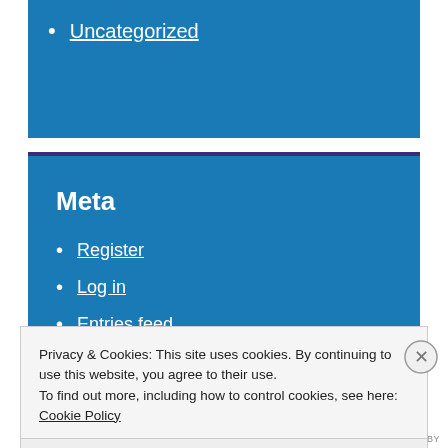Uncategorized
Meta
Register
Log in
Entries feed
Comments feed
Privacy & Cookies: This site uses cookies. By continuing to use this website, you agree to their use.
To find out more, including how to control cookies, see here: Cookie Policy
Close and accept